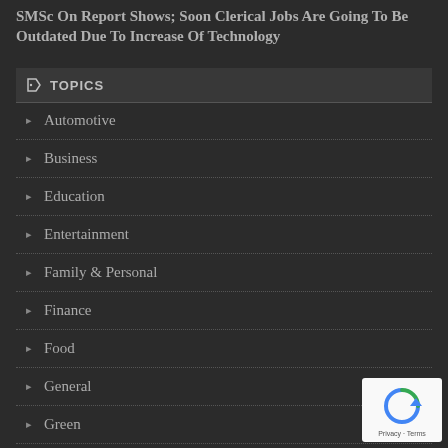SMSc On Report Shows; Soon Clerical Jobs Are Going To Be Outdated Due To Increase Of Technology
TOPICS
Automotive
Business
Education
Entertainment
Family & Personal
Finance
Food
General
Green
Health